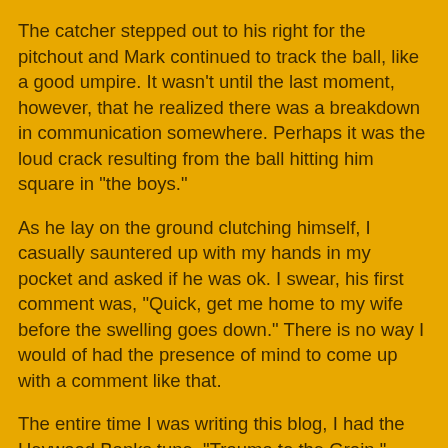The catcher stepped out to his right for the pitchout and Mark continued to track the ball, like a good umpire. It wasn't until the last moment, however, that he realized there was a breakdown in communication somewhere. Perhaps it was the loud crack resulting from the ball hitting him square in "the boys."
As he lay on the ground clutching himself, I casually sauntered up with my hands in my pocket and asked if he was ok. I swear, his first comment was, "Quick, get me home to my wife before the swelling goes down." There is no way I would of had the presence of mind to come up with a comment like that.
The entire time I was writing this blog, I had the Heywood Banks tune, "Trauma to the Groin," song on my mind. As a public service, I'm enclosing a link to the song, courtesy of the Bob and Tom radio show.
Trauma to the groin, by Heywood Banks